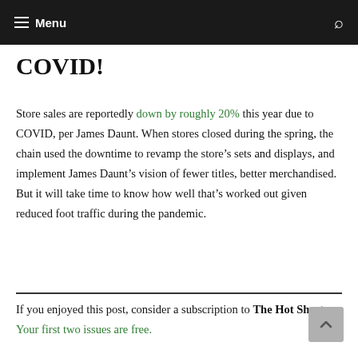Menu
COVID!
Store sales are reportedly down by roughly 20% this year due to COVID, per James Daunt. When stores closed during the spring, the chain used the downtime to revamp the store’s sets and displays, and implement James Daunt’s vision of fewer titles, better merchandised. But it will take time to know how well that’s worked out given reduced foot traffic during the pandemic.
If you enjoyed this post, consider a subscription to The Hot Sheet. Your first two issues are free.